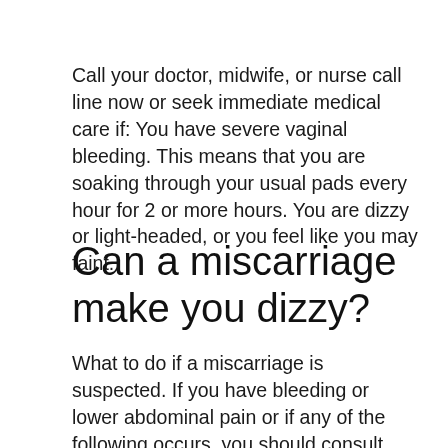Call your doctor, midwife, or nurse call line now or seek immediate medical care if: You have severe vaginal bleeding. This means that you are soaking through your usual pads every hour for 2 or more hours. You are dizzy or light-headed, or you feel like you may faint.
Can a miscarriage make you dizzy?
What to do if a miscarriage is suspected. If you have bleeding or lower abdominal pain or if any of the following occurs, you should consult your doctor or midwife immediately: You are bleeding at a rate that requires more